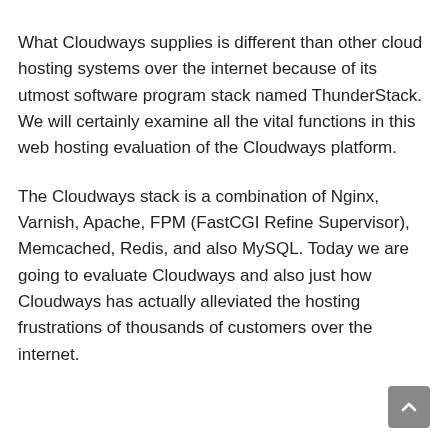What Cloudways supplies is different than other cloud hosting systems over the internet because of its utmost software program stack named ThunderStack. We will certainly examine all the vital functions in this web hosting evaluation of the Cloudways platform.
The Cloudways stack is a combination of Nginx, Varnish, Apache, FPM (FastCGI Refine Supervisor), Memcached, Redis, and also MySQL. Today we are going to evaluate Cloudways and also just how Cloudways has actually alleviated the hosting frustrations of thousands of customers over the internet.